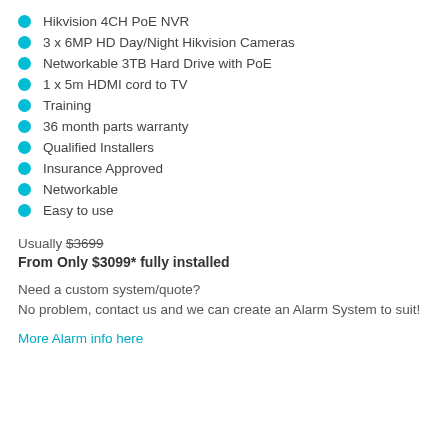Hikvision 4CH PoE NVR
3 x 6MP HD Day/Night Hikvision Cameras
Networkable 3TB Hard Drive with PoE
1 x 5m HDMI cord to TV
Training
36 month parts warranty
Qualified Installers
Insurance Approved
Networkable
Easy to use
Usually $3699
From Only $3099* fully installed
Need a custom system/quote?
No problem, contact us and we can create an Alarm System to suit!
More Alarm info here